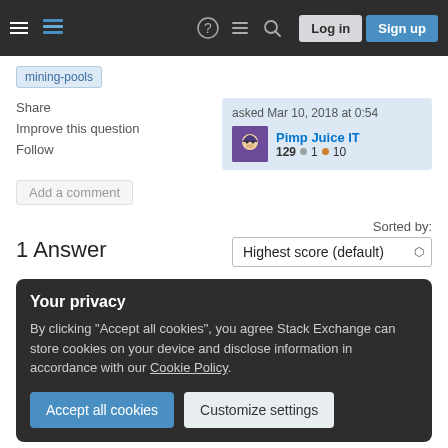Stack Exchange – Log in | Sign up
mining-pools
Share
Improve this question
Follow
asked Mar 10, 2018 at 0:54
Pimp Juice IT
129 ● 1 ● 10
Add a comment
1 Answer
Sorted by: Highest score (default)
Your privacy
By clicking "Accept all cookies", you agree Stack Exchange can store cookies on your device and disclose information in accordance with our Cookie Policy.
Accept all cookies    Customize settings
machines within your account"